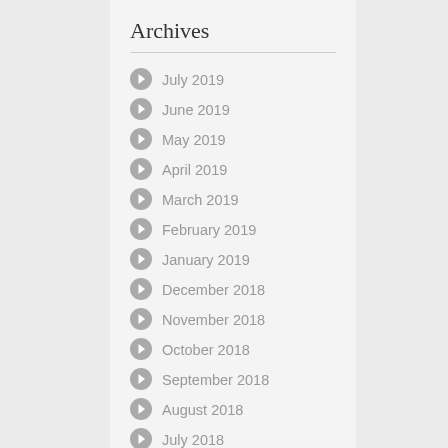Archives
July 2019
June 2019
May 2019
April 2019
March 2019
February 2019
January 2019
December 2018
November 2018
October 2018
September 2018
August 2018
July 2018